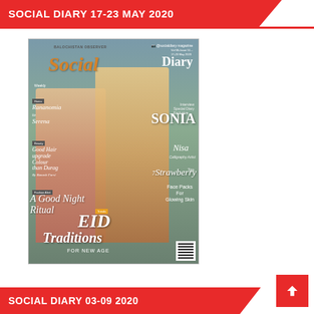SOCIAL DIARY 17-23 MAY 2020
[Figure (photo): Cover of Social Diary magazine issue 17-23 May 2020, showing two women in traditional Pakistani attire (lehenga/shalwar kameez). The cover features text about Social Diary Exclusive Sonia Nisa (Calligraphy Artist), 7 Strawberry Face Packs For Glowing Skin, Eid Traditions For New Age, A Good Night Ritual, drama Rannomia to Serena, Good Hair upgrade colour than durag by Banash Farsi.]
SOCIAL DIARY 03-09 2020